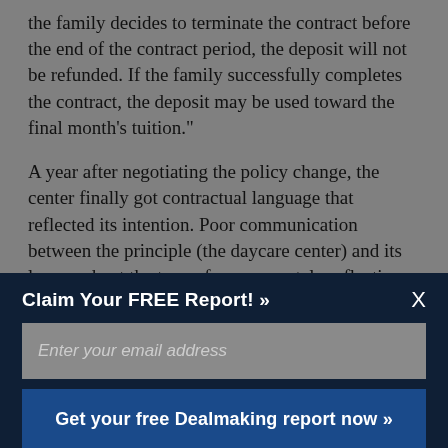the family decides to terminate the contract before the end of the contract period, the deposit will not be refunded. If the family successfully completes the contract, the deposit may be used toward the final month's tuition."
A year after negotiating the policy change, the center finally got contractual language that reflected its intention. Poor communication between the principle (the daycare center) and its lawyers kept the terms from accurately reflecting the understanding that the center had reached with its board.
Claim Your FREE Report! »
Enter your email address
Get your free Dealmaking report now »